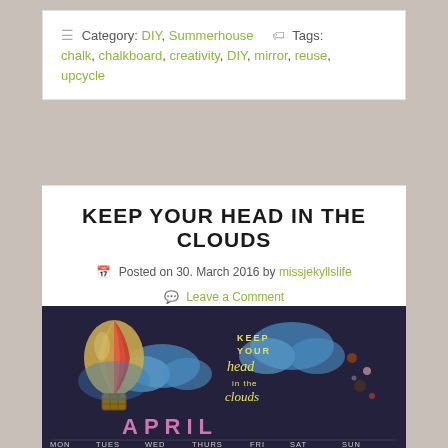≡ Category: DIY, Summerhouse  🏷 Tags: chalk, chalkboard, creativity, DIY, mirror, reuse, upcycle
KEEP YOUR HEAD IN THE CLOUDS
Posted on 30. March 2016 by missjekyllslife
Leave a Comment
[Figure (photo): Chalkboard drawing with a hot air balloon, clouds, and text 'Keep your head in the clouds' with the word APRIL and days of week MON TUES WED THURS FRI SAT SUN at the bottom]